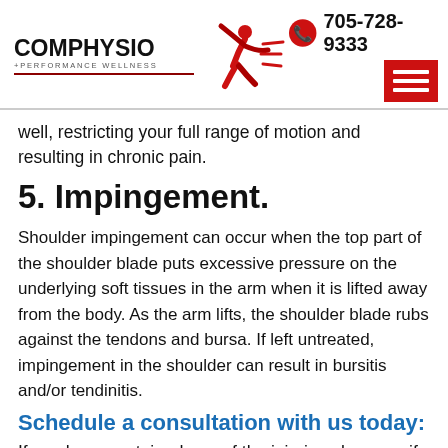[Figure (logo): ComPhysio + Performance Wellness logo with running athlete silhouette in red]
705-728-9333
well, restricting your full range of motion and resulting in chronic pain.
5. Impingement.
Shoulder impingement can occur when the top part of the shoulder blade puts excessive pressure on the underlying soft tissues in the arm when it is lifted away from the body. As the arm lifts, the shoulder blade rubs against the tendons and bursa. If left untreated, impingement in the shoulder can result in bursitis and/or tendinitis.
Schedule a consultation with us today:
If you have sustained one of the injuries above, or if